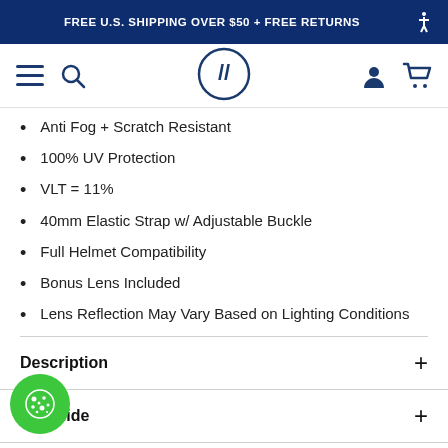FREE U.S. SHIPPING OVER $50 + FREE RETURNS
[Figure (screenshot): Navigation bar with hamburger menu, search icon, brand logo (circle with double slash), user icon, and cart icon]
Anti Fog + Scratch Resistant
100% UV Protection
VLT = 11%
40mm Elastic Strap w/ Adjustable Buckle
Full Helmet Compatibility
Bonus Lens Included
Lens Reflection May Vary Based on Lighting Conditions
Description
Fit Guide
TURES
[Figure (photo): Partial product photo showing dark/black goggle or strap hardware at bottom of page]